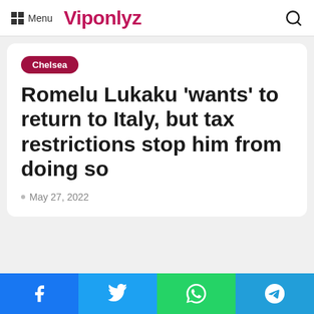Menu  Viponlyz
Chelsea
Romelu Lukaku ‘wants’ to return to Italy, but tax restrictions stop him from doing so
May 27, 2022